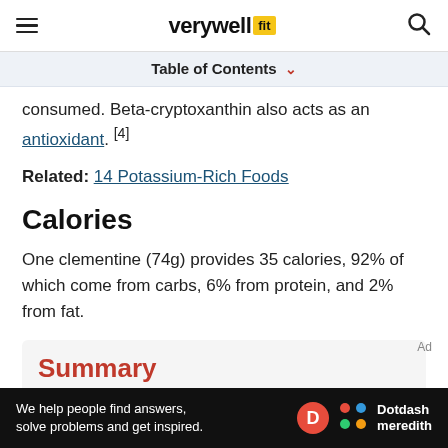verywell fit
Table of Contents
consumed. Beta-cryptoxanthin also acts as an antioxidant. [4]
Related: 14 Potassium-Rich Foods
Calories
One clementine (74g) provides 35 calories, 92% of which come from carbs, 6% from protein, and 2% from fat.
Summary
We help people find answers, solve problems and get inspired.